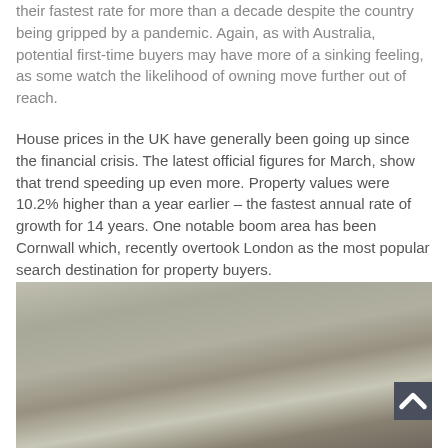...house prices are soaring as well and have been increasing at their fastest rate for more than a decade despite the country being gripped by a pandemic. Again, as with Australia, potential first-time buyers may have more of a sinking feeling, as some watch the likelihood of owning move further out of reach.
House prices in the UK have generally been going up since the financial crisis. The latest official figures for March, show that trend speeding up even more. Property values were 10.2% higher than a year earlier – the fastest annual rate of growth for 14 years. One notable boom area has been Cornwall which, recently overtook London as the most popular search destination for property buyers.
[Figure (photo): A blurred/obscured photograph, likely of a property or landscape, shown partially cut off at the bottom of the page.]